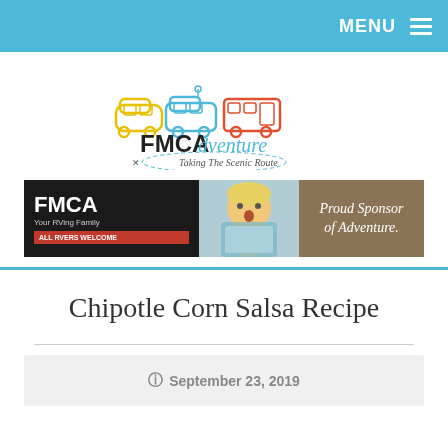MENU
[Figure (logo): FMCAdventure logo with colorful RV illustrations and text 'Taking The Scenic Route']
[Figure (infographic): FMCA advertisement banner: 'FMCA Your RVing Family ALL RVERS WELCOME - Proud Sponsor of Adventure.']
Chipotle Corn Salsa Recipe
September 23, 2019